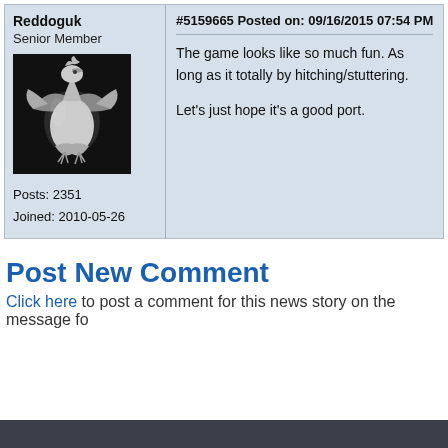Reddoguk
Senior Member
[Figure (illustration): Liverpool Liver Bird logo in silver/white on black background]
Posts: 2351
Joined: 2010-05-26
#5159665 Posted on: 09/16/2015 07:54 PM
The game looks like so much fun. As long as it totally by hitching/stuttering.

Let's just hope it's a good port.
Post New Comment
Click here to post a comment for this news story on the message fo